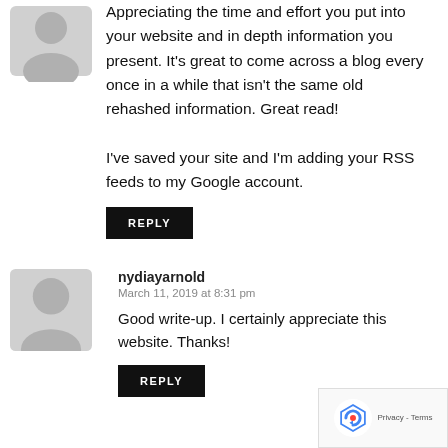Appreciating the time and effort you put into your website and in depth information you present. It's great to come across a blog every once in a while that isn't the same old rehashed information. Great read!

I've saved your site and I'm adding your RSS feeds to my Google account.
REPLY
nydiayarnold
March 11, 2019 at 8:31 pm
Good write-up. I certainly appreciate this website. Thanks!
REPLY